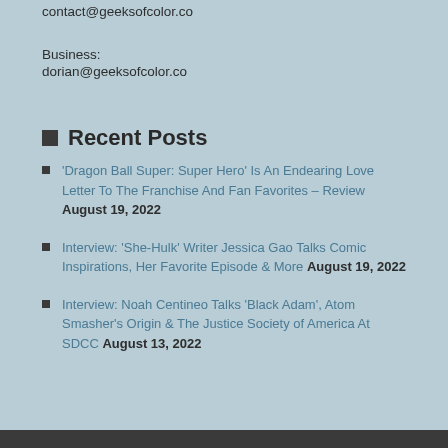contact@geeksofcolor.co
Business:
dorian@geeksofcolor.co
Recent Posts
'Dragon Ball Super: Super Hero' Is An Endearing Love Letter To The Franchise And Fan Favorites – Review August 19, 2022
Interview: 'She-Hulk' Writer Jessica Gao Talks Comic Inspirations, Her Favorite Episode & More August 19, 2022
Interview: Noah Centineo Talks 'Black Adam', Atom Smasher's Origin & The Justice Society of America At SDCC August 13, 2022